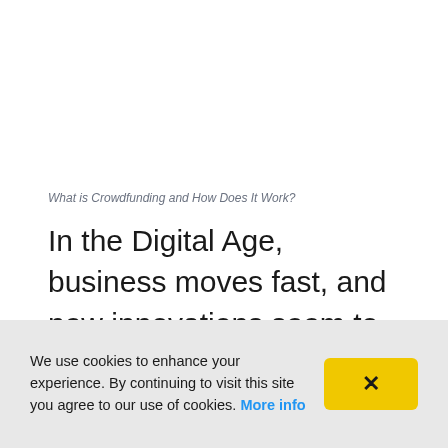What is Crowdfunding and How Does It Work?
In the Digital Age, business moves fast, and new innovations seem to be revolutionizing the business world every year. But while gimmicks and neat new concepts will come and go, one modern innovation has the potential to change
We use cookies to enhance your experience. By continuing to visit this site you agree to our use of cookies. More info